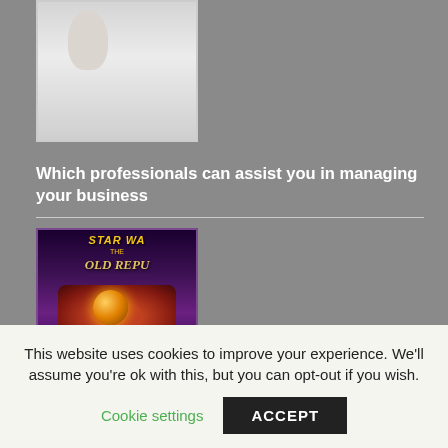[Figure (photo): Photo of stressed business people at a meeting table, one person holding their head in hands, others around a table with documents and supplies]
Which professionals can assist you in managing your business
[Figure (photo): Star Wars: The Old Republic game artwork showing 'STAR WA... THE OLD REPU...' title text with a dark-robed character and glowing orb, bottom text partially visible reading 'SHADDAA NIGH...']
This website uses cookies to improve your experience. We'll assume you're ok with this, but you can opt-out if you wish.
Cookie settings
ACCEPT